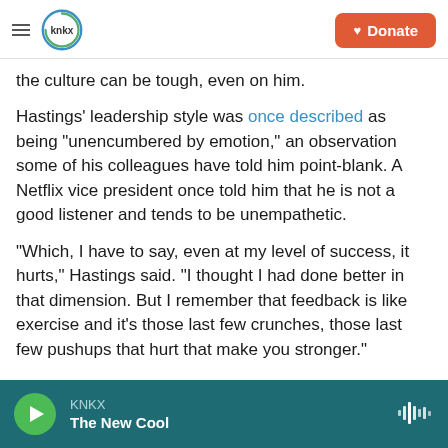KNKX — Donate
the culture can be tough, even on him.
Hastings' leadership style was once described as being "unencumbered by emotion," an observation some of his colleagues have told him point-blank. A Netflix vice president once told him that he is not a good listener and tends to be unempathetic.
"Which, I have to say, even at my level of success, it hurts," Hastings said. "I thought I had done better in that dimension. But I remember that feedback is like exercise and it's those last few crunches, those last few pushups that hurt that make you stronger."
KNKX — The New Cool